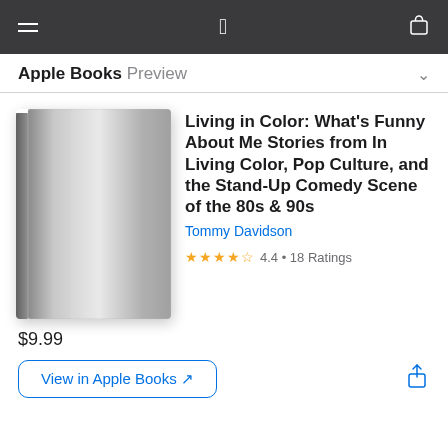Apple Books Preview
[Figure (illustration): Book cover: plain gray/silver book cover with no title text, shown as a 3D perspective book]
Living in Color: What's Funny About Me Stories from In Living Color, Pop Culture, and the Stand-Up Comedy Scene of the 80s & 90s
Tommy Davidson
4.4 • 18 Ratings
$9.99
View in Apple Books ↗